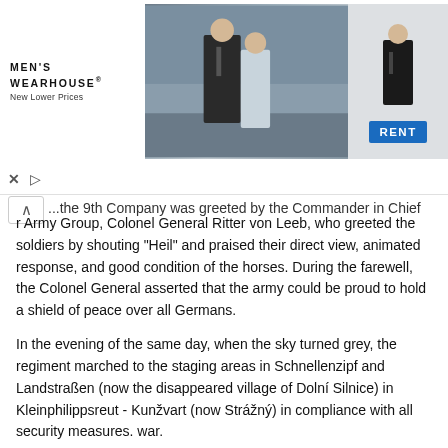[Figure (photo): Men's Wearhouse advertisement banner showing a couple in formal wear, a man in a tuxedo standing alone, and a blue RENT button.]
...the 9th Company was greeted by the Commander in Chief of Army Group, Colonel General Ritter von Leeb, who greeted the soldiers by shouting "Heil" and praised their direct view, animated response, and good condition of the horses. During the farewell, the Colonel General asserted that the army could be proud to hold a shield of peace over all Germans.
In the evening of the same day, when the sky turned grey, the regiment marched to the staging areas in Schnellenzipf and Landstraßen (now the disappeared village of Dolní Silnice) in Kleinphilippsreut - Kunžvart (now Strážný) in compliance with all security measures. war.
A light rain was falling, the dark roads reflected dim lights around the moving vehicles. The night seemed unusually dark, darker than here. Deep woods and villages lay silent as a gray column passed over them into the hills, advancing towards the Kleinphilippsreut Basin. The picture is like in the west in 1918, when a regiment marched through the Argonne Forest to the front for action, except there was no rumble from the front, no bright bullets in the night